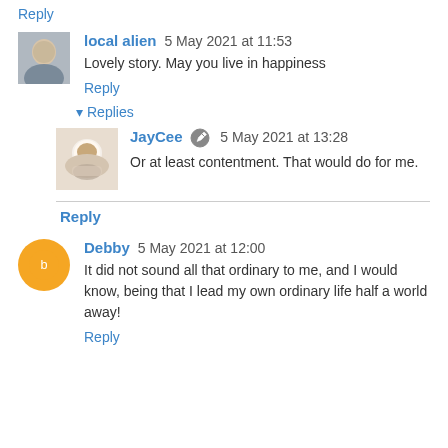Reply
local alien 5 May 2021 at 11:53
Lovely story. May you live in happiness
Reply
▾ Replies
JayCee 5 May 2021 at 13:28
Or at least contentment. That would do for me.
Reply
Debby 5 May 2021 at 12:00
It did not sound all that ordinary to me, and I would know, being that I lead my own ordinary life half a world away!
Reply